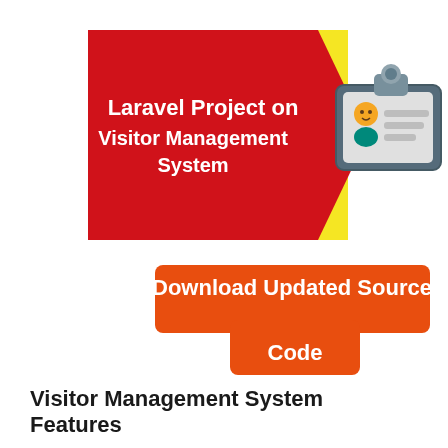[Figure (illustration): Red arrow/pentagon shape with yellow triangle accent on a white background, containing bold white text 'Laravel Project on Visitor Management System'. To the right is an ID badge icon with a person figure, gray card with clip at top.]
[Figure (infographic): Orange rounded rectangle button graphic with white text 'Download Updated Source Code']
Visitor Management System Features